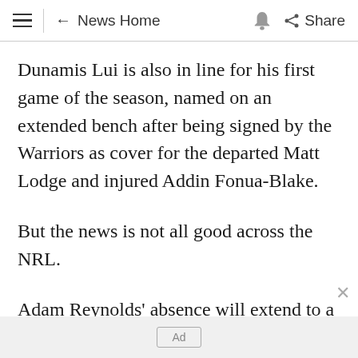← News Home | Share
Dunamis Lui is also in line for his first game of the season, named on an extended bench after being signed by the Warriors as cover for the departed Matt Lodge and injured Addin Fonua-Blake.
But the news is not all good across the NRL.
Adam Reynolds' absence will extend to a second week at Brisbane after the star halfback failed to overcome a hamstring injury to face